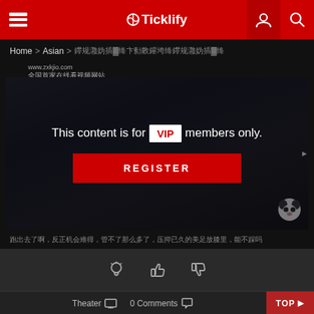Ticklify
Home > Asian > 鑻规灉妫插▓绛卞勬斁鑵垮绛 (breadcrumb)
www.zxkjio.com
全国首家在线看视频网站
[Figure (screenshot): Video player area showing blurred content with overlay: 'This content is for VIP members only.' and a red REGISTER button. Panda watermark in bottom right corner.]
跑出去了啊，反正机会难得，管不了那么多了，压抑已久的美足放膝里，能不踩吗
[Figure (other): Action icons: lightbulb, thumbs up, thumbs down]
Theater  0 Comments  TOP